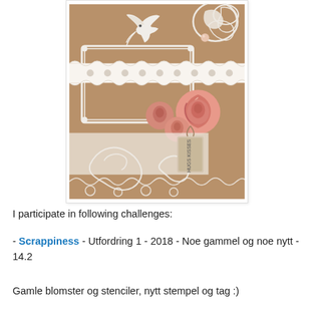[Figure (photo): A close-up photo of a handmade scrapbooking/craft card featuring white lace trim, pink roses (small and large), a white decorative bird, white filigree die-cut frame, ornate white flourish embellishments on a kraft/brown cardstock background, and a small hanging tag with twine.]
I participate in following challenges:
- Scrappiness - Utfordring 1 - 2018 - Noe gammel og noe nytt - 14.2
Gamle blomster og stenciler, nytt stempel og tag :)